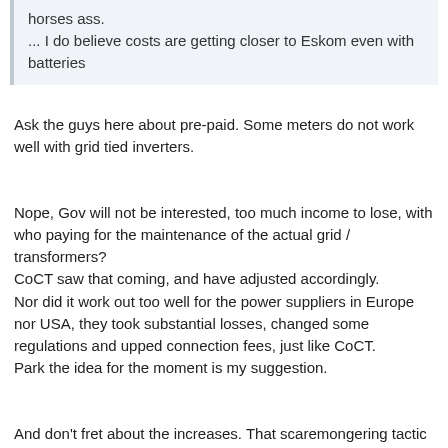horses ass.
... I do believe costs are getting closer to Eskom even with batteries
Ask the guys here about pre-paid. Some meters do not work well with grid tied inverters.
Nope, Gov will not be interested, too much income to lose, with who paying for the maintenance of the actual grid / transformers?
CoCT saw that coming, and have adjusted accordingly.
Nor did it work out too well for the power suppliers in Europe nor USA, they took substantial losses, changed some regulations and upped connection fees, just like CoCT.
Park the idea for the moment is my suggestion.
And don't fret about the increases. That scaremongering tactic has been used by solar installers for years, no-one tries that anymore for NONE of their numbers they gave, came even remotely close since 2012. It is cheaper to switch things off, get power friendly fridges / freezers / pumps / inverter aircons / heatpumps.